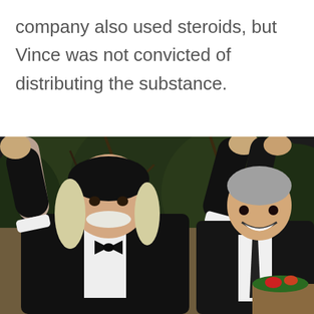company also used steroids, but Vince was not convicted of distributing the substance.
[Figure (photo): Two men in black tuxedos celebrating outdoors at night with trees/shrubs in background. The man on the left is larger, wearing a black bandana, with a white mustache and long blond hair, raising both fists in the air. The man on the right has gray hair and is smiling, with his right hand raised being held by the left man.]